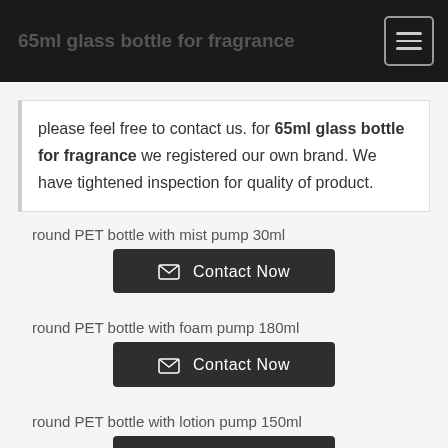65ml glass bottle for fragrance
please feel free to contact us. for 65ml glass bottle for fragrance we registered our own brand. We have tightened inspection for quality of product.
round PET bottle with mist pump 30ml
Contact Now
round PET bottle with foam pump 180ml
Contact Now
round PET bottle with lotion pump 150ml
Contact Now